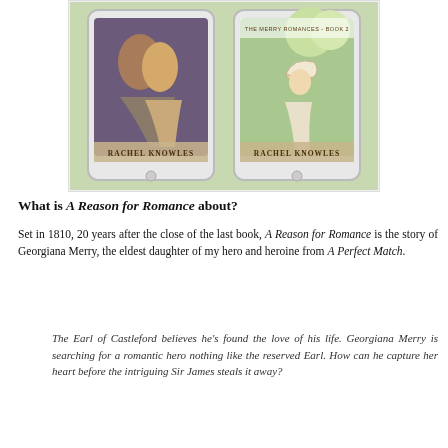[Figure (illustration): Two e-reader devices showing book covers by Rachel Knowles. The left device shows a Regency couple embracing on a cliff, the right device shows a woman in a bonnet outdoors. Both display 'RACHEL KNOWLES' at the bottom. The right cover shows 'The Merry Romances - Book 2' at the top.]
What is A Reason for Romance about?
Set in 1810, 20 years after the close of the last book, A Reason for Romance is the story of Georgiana Merry, the eldest daughter of my hero and heroine from A Perfect Match.
The Earl of Castleford believes he’s found the love of his life. Georgiana Merry is searching for a romantic hero nothing like the reserved Earl. How can he capture her heart before the intriguing Sir James steals it away?